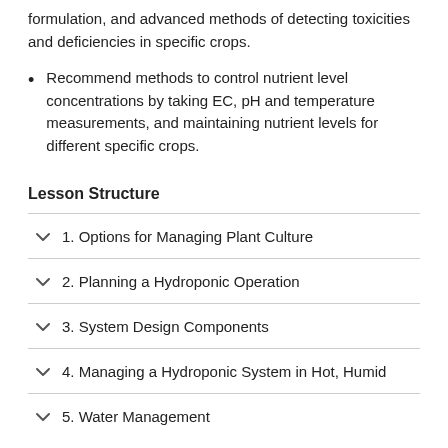formulation, and advanced methods of detecting toxicities and deficiencies in specific crops.
Recommend methods to control nutrient level concentrations by taking EC, pH and temperature measurements, and maintaining nutrient levels for different specific crops.
Lesson Structure
1. Options for Managing Plant Culture
2. Planning a Hydroponic Operation
3. System Design Components
4. Managing a Hydroponic System in Hot, Humid
5. Water Management